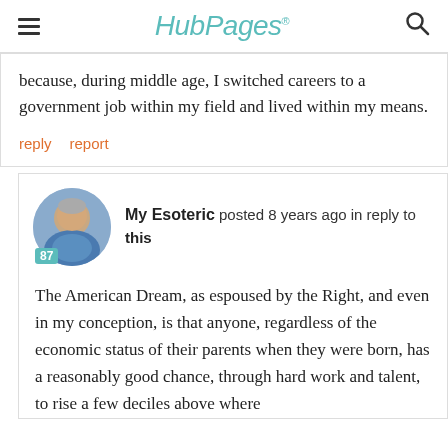HubPages
because, during middle age, I switched careers to a government job within my field and lived within my means.
reply   report
My Esoteric posted 8 years ago in reply to this
The American Dream, as espoused by the Right, and even in my conception, is that anyone, regardless of the economic status of their parents when they were born, has a reasonably good chance, through hard work and talent, to rise a few deciles above where